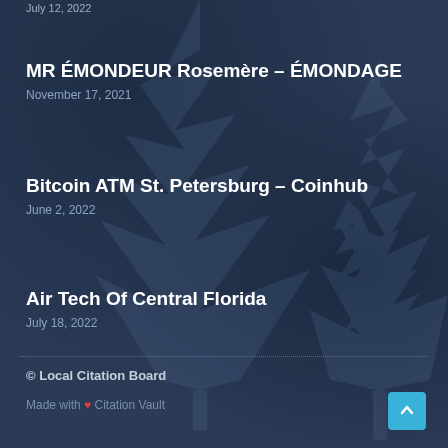July 12, 2022
MR ÉMONDEUR Rosemère – ÉMONDAGE
November 17, 2021
Bitcoin ATM St. Petersburg – Coinhub
June 2, 2022
Air Tech Of Central Florida
July 18, 2022
© Local Citation Board
Made with ♥ Citation Vault